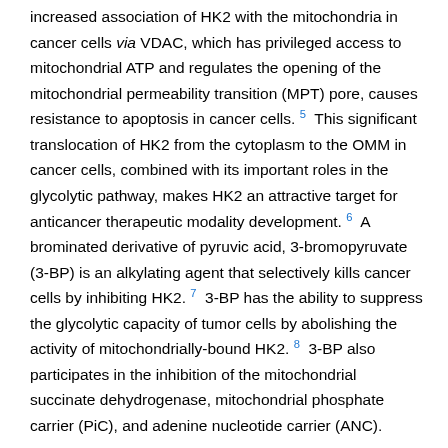increased association of HK2 with the mitochondria in cancer cells via VDAC, which has privileged access to mitochondrial ATP and regulates the opening of the mitochondrial permeability transition (MPT) pore, causes resistance to apoptosis in cancer cells. 5  This significant translocation of HK2 from the cytoplasm to the OMM in cancer cells, combined with its important roles in the glycolytic pathway, makes HK2 an attractive target for anticancer therapeutic modality development. 6  A brominated derivative of pyruvic acid, 3-bromopyruvate (3-BP) is an alkylating agent that selectively kills cancer cells by inhibiting HK2. 7  3-BP has the ability to suppress the glycolytic capacity of tumor cells by abolishing the activity of mitochondrially-bound HK2. 8  3-BP also participates in the inhibition of the mitochondrial succinate dehydrogenase, mitochondrial phosphate carrier (PiC), and adenine nucleotide carrier (ANC).

The characteristic alterations of mitochondrial function in cancer, the association of HK2 to the OMM via VDAC, the ability of 3-BP to inhibit HK2, and the subsequent apoptosis of cancer cells led to